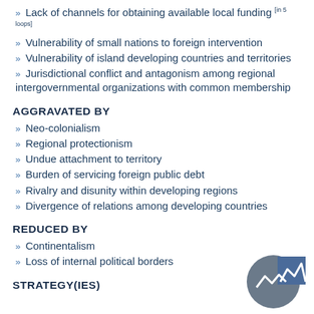Lack of channels for obtaining available local funding [in 5 loops]
Vulnerability of small nations to foreign intervention
Vulnerability of island developing countries and territories
Jurisdictional conflict and antagonism among regional intergovernmental organizations with common membership
AGGRAVATED BY
Neo-colonialism
Regional protectionism
Undue attachment to territory
Burden of servicing foreign public debt
Rivalry and disunity within developing regions
Divergence of relations among developing countries
REDUCED BY
Continentalism
Loss of internal political borders
STRATEGY(IES)
[Figure (logo): Mountain/chart logo icon with grey circle background and blue square overlay]